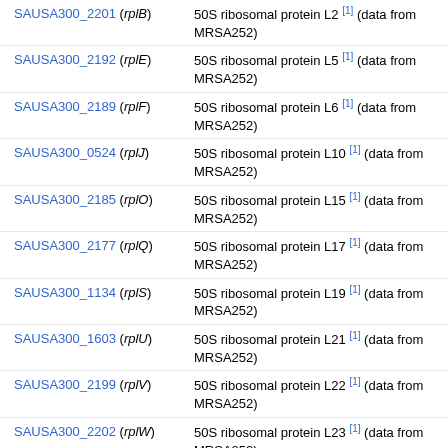SAUSA300_2201 (rplB) — 50S ribosomal protein L2 [1] (data from MRSA252)
SAUSA300_2192 (rplE) — 50S ribosomal protein L5 [1] (data from MRSA252)
SAUSA300_2189 (rplF) — 50S ribosomal protein L6 [1] (data from MRSA252)
SAUSA300_0524 (rplJ) — 50S ribosomal protein L10 [1] (data from MRSA252)
SAUSA300_2185 (rplO) — 50S ribosomal protein L15 [1] (data from MRSA252)
SAUSA300_2177 (rplQ) — 50S ribosomal protein L17 [1] (data from MRSA252)
SAUSA300_1134 (rplS) — 50S ribosomal protein L19 [1] (data from MRSA252)
SAUSA300_1603 (rplU) — 50S ribosomal protein L21 [1] (data from MRSA252)
SAUSA300_2199 (rplV) — 50S ribosomal protein L22 [1] (data from MRSA252)
SAUSA300_2202 (rplW) — 50S ribosomal protein L23 [1] (data from MRSA252)
SAUSA300_2074 (rpmE2) — 50S ribosomal protein L31 type [1]